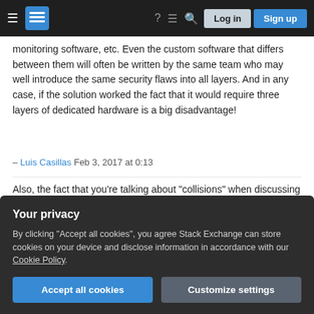Stack Exchange navigation bar with hamburger menu, logo, help, chat, search icons, Log in and Sign up buttons
monitoring software, etc. Even the custom software that differs between them will often be written by the same team who may well introduce the same security flaws into all layers. And in any case, if the solution worked the fact that it would require three layers of dedicated hardware is a big disadvantage!
– Luis Casillas Feb 3, 2017 at 0:13
Also, the fact that you're talking about "collisions" when discussing HMAC vs. SHA-512 does not reassure me that you understand the issue here: what are the necessary properties for your scheme to be secure, and what functions or construction supply those properties? What you want here is a message
Your privacy
By clicking "Accept all cookies", you agree Stack Exchange can store cookies on your device and disclose information in accordance with our Cookie Policy.
Accept all cookies
Customize settings
unforgeability under adaptive chosen message attack means that even an attacker who can submit